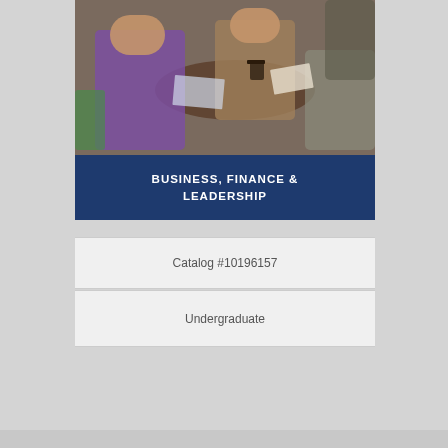[Figure (photo): People sitting around a table in a meeting or classroom setting, with coffee cups and papers/books visible]
BUSINESS, FINANCE & LEADERSHIP
Catalog #10196157
Undergraduate